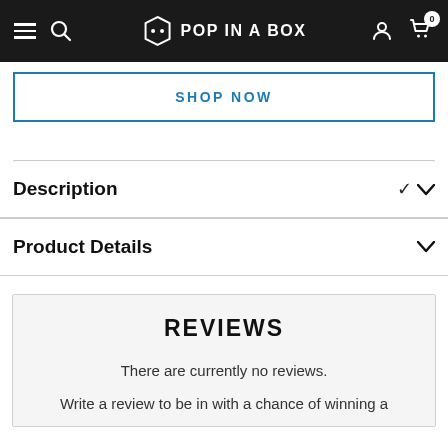Pop In A Box — navigation bar with menu, search, logo, user and cart icons
SHOP NOW
Description
Product Details
REVIEWS
There are currently no reviews.
Write a review to be in with a chance of winning a